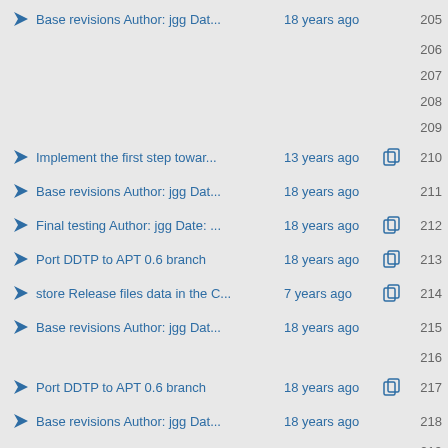Base revisions Author: jgg Dat... 18 years ago 205
206
207
208
209
Implement the first step towar... 13 years ago 210
Base revisions Author: jgg Dat... 18 years ago 211
Final testing Author: jgg Date: ... 18 years ago 212
Port DDTP to APT 0.6 branch 18 years ago 213
store Release files data in the C... 7 years ago 214
Base revisions Author: jgg Dat... 18 years ago 215
216
Port DDTP to APT 0.6 branch 18 years ago 217
Base revisions Author: jgg Dat... 18 years ago 218
219
split-up Dependency struct Havi... 7 years ago 220
add messages to our deprecatio... 7 years ago 221
Base revisions Author: jgg Dat... 18 years ago 222
Final testing Author: jgg Date: ... 18 years ago 223
* apt-pkg/pkgcachegen.{cc,h}:...12 years ago 224
warning: extra ';' [-Wpedantic] ... 9 years ago 225